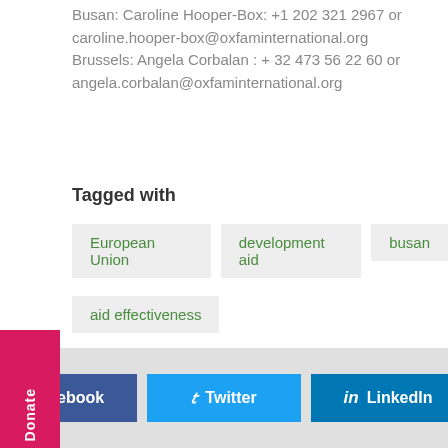Busan: Caroline Hooper-Box: +1 202 321 2967 or caroline.hooper-box@oxfaminternational.org Brussels: Angela Corbalan : + 32 473 56 22 60 or angela.corbalan@oxfaminternational.org
Tagged with
European Union
development aid
busan
aid effectiveness
Donate
Facebook  Twitter  LinkedIn